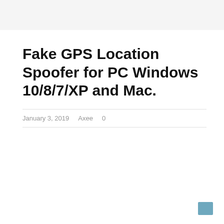Fake GPS Location Spoofer for PC Windows 10/8/7/XP and Mac.
January 3, 2019    Axee    0